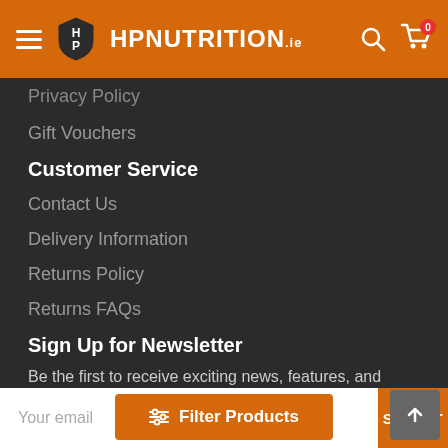HP Nutrition
Privacy Policy
Gift Vouchers
Customer Service
Contact Us
Delivery Information
Returns Policy
Returns FAQs
Sign Up for Newsletter
Be the first to receive exciting news, features, and special offers from HP Nutrition!
Your email
SUBMIT
Filter Products